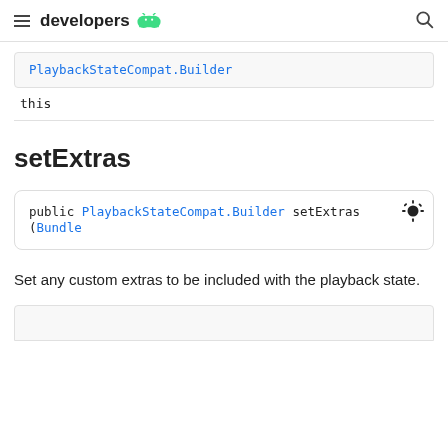developers [android logo]
PlaybackStateCompat.Builder
this
setExtras
public PlaybackStateCompat.Builder setExtras (Bundle
Set any custom extras to be included with the playback state.